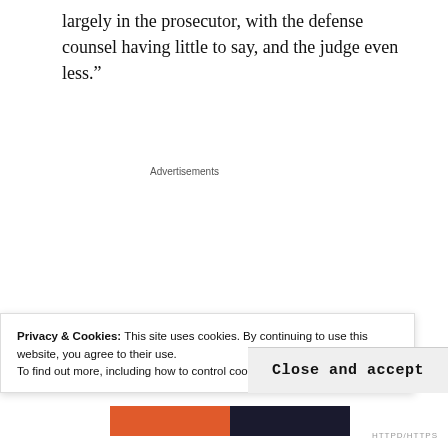largely in the prosecutor, with the defense counsel having little to say, and the judge even less."
Advertisements
[Figure (screenshot): Advertisement banner with dark background showing text 'Turn your blog into a money-making online course.' with a teal Learn More button]
Privacy & Cookies: This site uses cookies. By continuing to use this website, you agree to their use.
To find out more, including how to control cookies, see here: Cookie Policy
Close and accept